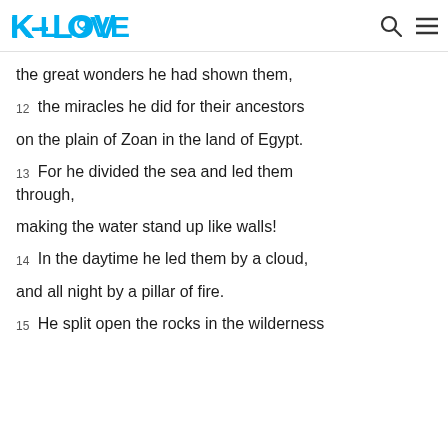K-LOVE
the great wonders he had shown them,
12 the miracles he did for their ancestors
on the plain of Zoan in the land of Egypt.
13 For he divided the sea and led them through,
making the water stand up like walls!
14 In the daytime he led them by a cloud,
and all night by a pillar of fire.
15 He split open the rocks in the wilderness